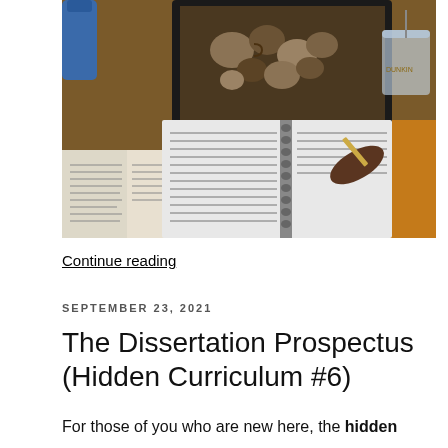[Figure (photo): A study setup photographed from above: an open laptop with mugs on the screen background, an open handwritten spiral notebook, an open book, a person's hand holding a pen taking notes, and a large plastic cup with a straw, on a wooden table.]
Continue reading
SEPTEMBER 23, 2021
The Dissertation Prospectus (Hidden Curriculum #6)
For those of you who are new here, the hidden